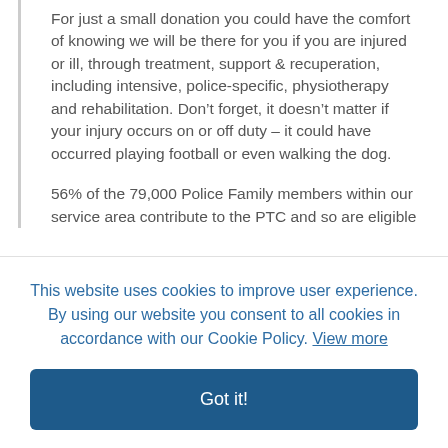For just a small donation you could have the comfort of knowing we will be there for you if you are injured or ill, through treatment, support & recuperation, including intensive, police-specific, physiotherapy and rehabilitation. Don’t forget, it doesn’t matter if your injury occurs on or off duty – it could have occurred playing football or even walking the dog.
56% of the 79,000 Police Family members within our service area contribute to the PTC and so are eligible
This website uses cookies to improve user experience. By using our website you consent to all cookies in accordance with our Cookie Policy. View more
Got it!